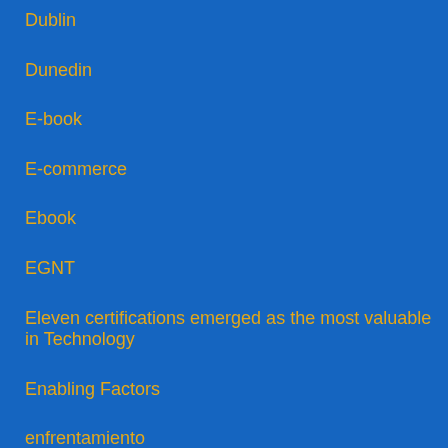Dublin
Dunedin
E-book
E-commerce
Ebook
EGNT
Eleven certifications emerged as the most valuable in Technology
Enabling Factors
enfrentamiento
Engagement